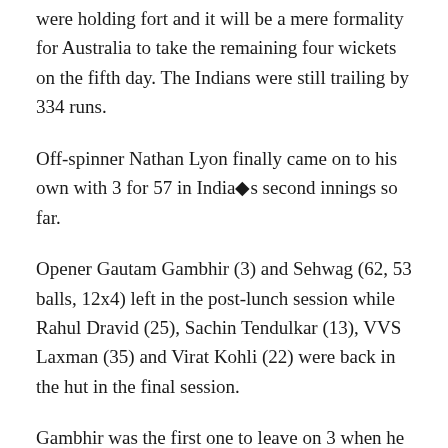were holding fort and it will be a mere formality for Australia to take the remaining four wickets on the fifth day. The Indians were still trailing by 334 runs.
Off-spinner Nathan Lyon finally came on to his own with 3 for 57 in India◆s second innings so far.
Opener Gautam Gambhir (3) and Sehwag (62, 53 balls, 12x4) left in the post-lunch session while Rahul Dravid (25), Sachin Tendulkar (13), VVS Laxman (35) and Virat Kohli (22) were back in the hut in the final session.
Gambhir was the first one to leave on 3 when he tried to push hard at a Ryan Harris delivery that was pitched around off-stump and moved a shade and the nick was smartly taken by Brad Haddin behind stumps.